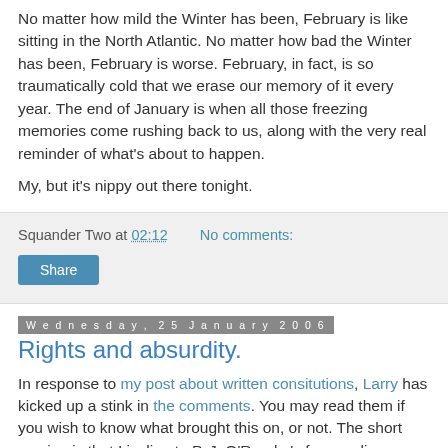No matter how mild the Winter has been, February is like sitting in the North Atlantic. No matter how bad the Winter has been, February is worse. February, in fact, is so traumatically cold that we erase our memory of it every year. The end of January is when all those freezing memories come rushing back to us, along with the very real reminder of what's about to happen.
My, but it's nippy out there tonight.
Squander Two at 02:12    No comments:
Share
Wednesday, 25 January 2006
Rights and absurdity.
In response to my post about written consitutions, Larry has kicked up a stink in the comments. You may read them if you wish to know what brought this on, or not. The short version is that I incline to P. J. O'Rourke's famous line: